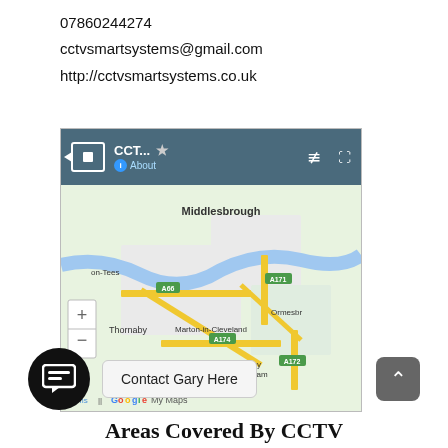07860244274
cctvsmartsystems@gmail.com
http://cctvsmartsystems.co.uk
[Figure (screenshot): Google My Maps screenshot showing Middlesbrough area with roads A66, A171, A174, A172 and locations including Thornaby, Marton-in-Cleveland, Stainton, Coulby Newham, Ormesby. Header shows CCT... title with About link.]
Contact Gary Here
Areas Covered By CCTV